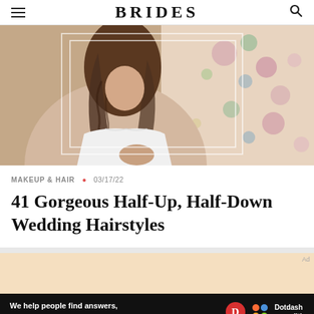BRIDES
[Figure (photo): Wedding photo showing a bride in white dress with long wavy hair, with another person in a floral dress, with decorative white rectangle overlays on the image]
MAKEUP & HAIR • 03/17/22
41 Gorgeous Half-Up, Half-Down Wedding Hairstyles
[Figure (screenshot): Advertisement area with peach/orange background and Dotdash Meredith banner at bottom reading: We help people find answers, solve problems and get inspired.]